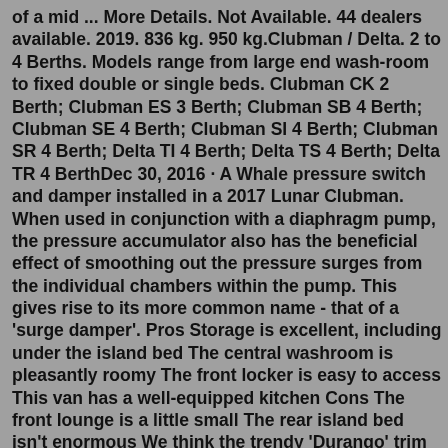of a mid ... More Details. Not Available. 44 dealers available. 2019. 836 kg. 950 kg.Clubman / Delta. 2 to 4 Berths. Models range from large end wash-room to fixed double or single beds. Clubman CK 2 Berth; Clubman ES 3 Berth; Clubman SB 4 Berth; Clubman SE 4 Berth; Clubman SI 4 Berth; Clubman SR 4 Berth; Delta TI 4 Berth; Delta TS 4 Berth; Delta TR 4 BerthDec 30, 2016 · A Whale pressure switch and damper installed in a 2017 Lunar Clubman. When used in conjunction with a diaphragm pump, the pressure accumulator also has the beneficial effect of smoothing out the pressure surges from the individual chambers within the pump. This gives rise to its more common name - that of a 'surge damper'. Pros Storage is excellent, including under the island bed The central washroom is pleasantly roomy The front locker is easy to access This van has a well-equipped kitchen Cons The front lounge is a little small The rear island bed isn't enormous We think the trendy 'Durango' trim may fall out of fashionClubman /